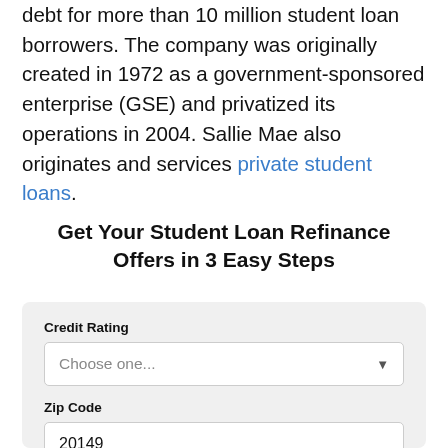debt for more than 10 million student loan borrowers. The company was originally created in 1972 as a government-sponsored enterprise (GSE) and privatized its operations in 2004. Sallie Mae also originates and services private student loans.
Get Your Student Loan Refinance Offers in 3 Easy Steps
Credit Rating
Choose one...
Zip Code
20149
Amount